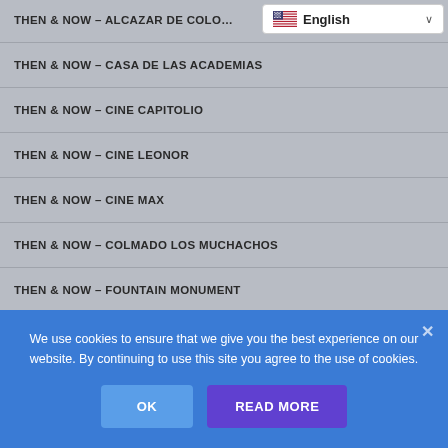[Figure (screenshot): Language selector dropdown showing US flag and 'English' with a chevron arrow]
THEN & NOW – ALCAZAR DE COLO…
THEN & NOW – CASA DE LAS ACADEMIAS
THEN & NOW – CINE CAPITOLIO
THEN & NOW – CINE LEONOR
THEN & NOW – CINE MAX
THEN & NOW – COLMADO LOS MUCHACHOS
THEN & NOW – FOUNTAIN MONUMENT
THEN & NOW – PALACIO DE BORGELLÁ
…(truncated)
We use cookies to ensure that we give you the best experience on our website. By continuing to use this site you agree to the use of cookies.